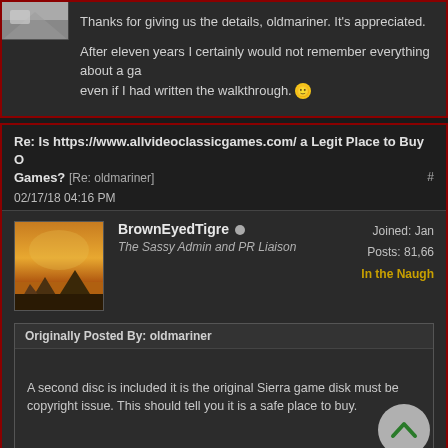[Figure (screenshot): Partial avatar image in top-left corner]
Thanks for giving us the details, oldmariner. It's appreciated.

After eleven years I certainly would not remember everything about a game, even if I had written the walkthrough. 🙂
Re: Is https://www.allvideoclassicgames.com/ a Legit Place to Buy Old Games? [Re: oldmariner] #
02/17/18 04:16 PM
BrownEyedTigre
The Sassy Admin and PR Liaison
Joined: Jan
Posts: 81,66
In the Naugh
Originally Posted By: oldmariner
A second disc is included it is the original Sierra game disk must be copyright issue. This should tell you it is a safe place to buy.